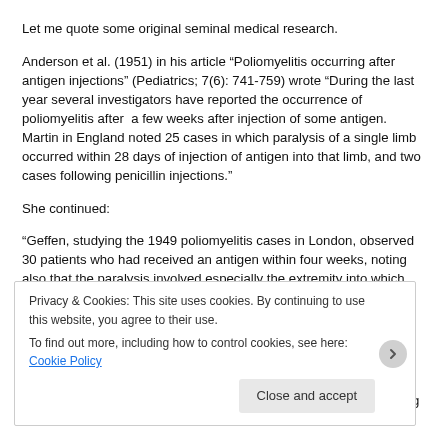Let me quote some original seminal medical research. Anderson et al. (1951) in his article “Poliomyelitis occurring after antigen injections” (Pediatrics; 7(6): 741-759) wrote “During the last year several investigators have reported the occurrence of poliomyelitis after  a few weeks after injection of some antigen. Martin in England noted 25 cases in which paralysis of a single limb occurred within 28 days of injection of antigen into that limb, and two cases following penicillin injections.” She continued: “Geffen, studying the 1949 poliomyelitis cases in London, observed 30 patients who had received an antigen within four weeks, noting also that the paralysis involved especially the extremity into which the injection had been given. Dr Scheibner provided many examples of researched evidence proving that vaccinations have been causing cases of paralysis and polio for many years. She could be right because concerns were being raised even during the
Privacy & Cookies: This site uses cookies. By continuing to use this website, you agree to their use.
To find out more, including how to control cookies, see here: Cookie Policy
Close and accept